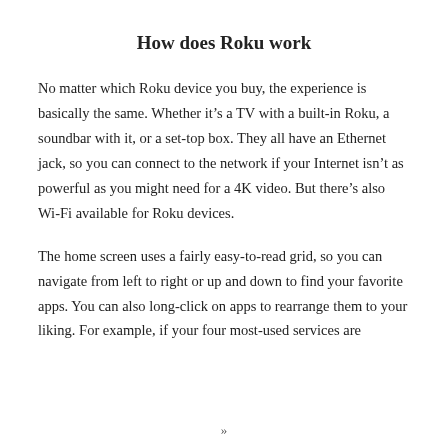How does Roku work
No matter which Roku device you buy, the experience is basically the same. Whether it’s a TV with a built-in Roku, a soundbar with it, or a set-top box. They all have an Ethernet jack, so you can connect to the network if your Internet isn’t as powerful as you might need for a 4K video. But there’s also Wi-Fi available for Roku devices.
The home screen uses a fairly easy-to-read grid, so you can navigate from left to right or up and down to find your favorite apps. You can also long-click on apps to rearrange them to your liking. For example, if your four most-used services are
»